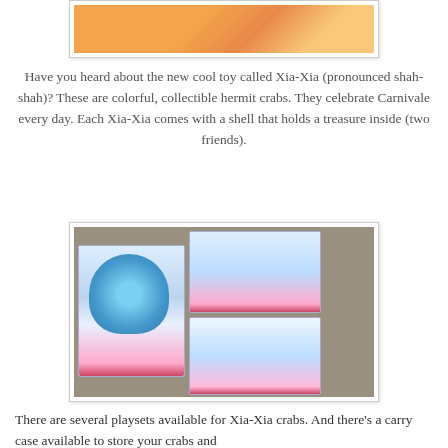[Figure (photo): Partial photo of Xia-Xia toy or related product with orange background, cropped at top]
Have you heard about the new cool toy called Xia-Xia (pronounced shah-shah)? These are colorful, collectible hermit crabs. They celebrate Carnivale every day. Each Xia-Xia comes with a shell that holds a treasure inside (two friends).
[Figure (photo): Photo of three Xia-Xia crab toy set boxes on a brown surface, showing colorful packaging with blue ocean-themed playsets]
There are several playsets available for Xia-Xia crabs. And there's a carry case available to store your crabs and